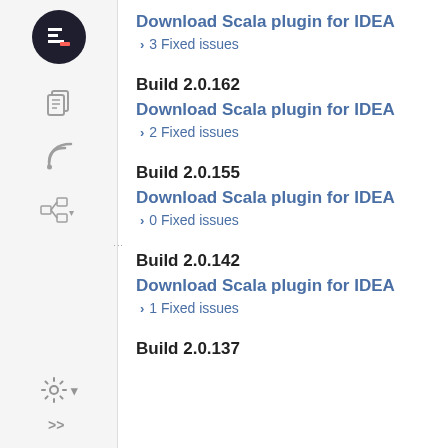Download Scala plugin for IDEA
› 3 Fixed issues
Build 2.0.162
Download Scala plugin for IDEA
› 2 Fixed issues
Build 2.0.155
Download Scala plugin for IDEA
› 0 Fixed issues
Build 2.0.142
Download Scala plugin for IDEA
› 1 Fixed issues
Build 2.0.137